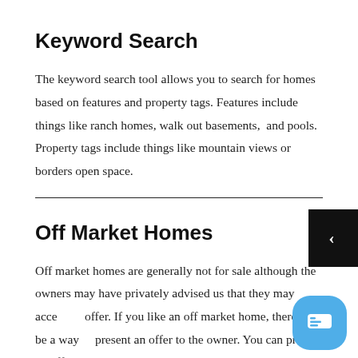Keyword Search
The keyword search tool allows you to search for homes based on features and property tags. Features include things like ranch homes, walk out basements,  and pools. Property tags include things like mountain views or borders open space.
Off Market Homes
Off market homes are generally not for sale although the owners may have privately advised us that they may accept an offer. If you like an off market home, there may be a way to present an offer to the owner. You can present an offer directly